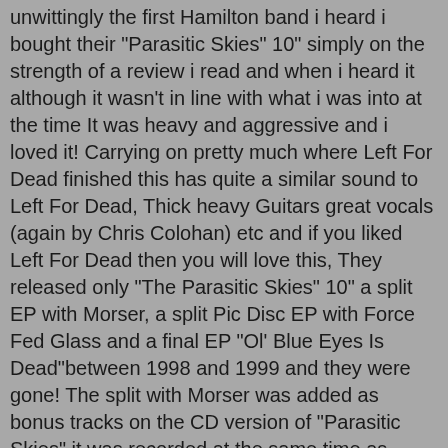unwittingly the first Hamilton band i heard i bought their "Parasitic Skies" 10" simply on the strength of a review i read and when i heard it although it wasn't in line with what i was into at the time It was heavy and aggressive and i loved it! Carrying on pretty much where Left For Dead finished this has quite a similar sound to Left For Dead, Thick heavy Guitars great vocals (again by Chris Colohan) etc and if you liked Left For Dead then you will love this, They released only "The Parasitic Skies" 10" a split EP with Morser, a split Pic Disc EP with Force Fed Glass and a final EP "Ol' Blue Eyes Is Dead"between 1998 and 1999 and they were gone! The split with Morser was added as bonus tracks on the CD version of "Parasitic Skies" it was recorded at the same time as "Parasitic.." so in your file you get Parasitic Skies with the tracks from The Morser split all together then separate folders for the Vinyl rips of the split with Force Fed Glass and "Ol' Blue Eyes Is Dead" the latter 2 aren't the best quality but i include them in the file for completions sake, In fact even the CD rip of "Parasitic Skies" is a bit quiet even tho it's a 320kbps rip straight from my own CD I suggest you turn it up loud and let the discography of this brutally heavy hardcore band annihilate you!